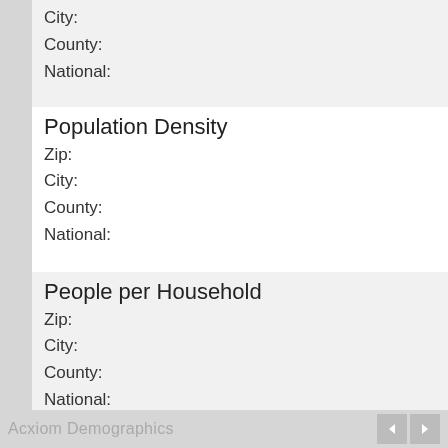City:
County:
National:
Population Density
Zip:
City:
County:
National:
People per Household
Zip:
City:
County:
National:
Median Age
Zip:
City:
County:
National:
Acxiom Demographics